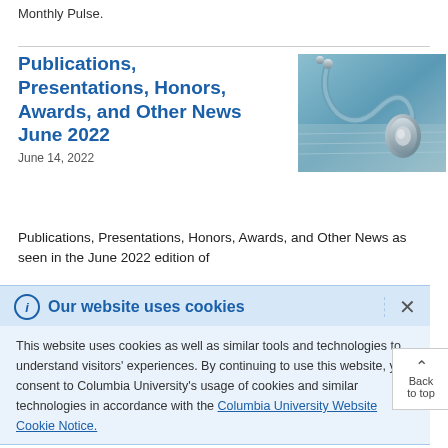Monthly Pulse.
Publications, Presentations, Honors, Awards, and Other News June 2022
[Figure (photo): Close-up photo of a stethoscope on a book/document, teal and silver tones.]
June 14, 2022
Publications, Presentations, Honors, Awards, and Other News as seen in the June 2022 edition of
Our website uses cookies
This website uses cookies as well as similar tools and technologies to understand visitors' experiences. By continuing to use this website, you consent to Columbia University's usage of cookies and similar technologies in accordance with the Columbia University Website Cookie Notice.